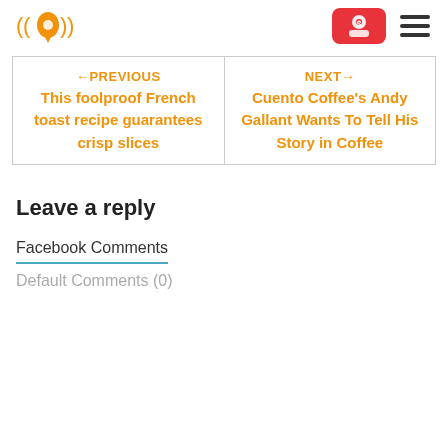Logo and navigation header
←PREVIOUS
This foolproof French toast recipe guarantees crisp slices
NEXT→
Cuento Coffee's Andy Gallant Wants To Tell His Story in Coffee
Leave a reply
Facebook Comments
Default Comments (0)